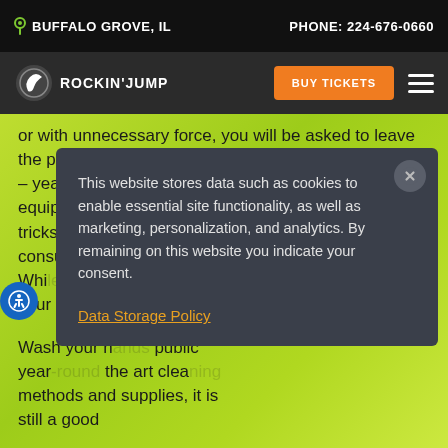BUFFALO GROVE, IL   PHONE: 224-676-0660
[Figure (logo): Rockin' Jump logo with navigation bar including BUY TICKETS button and hamburger menu]
or with unnecessary force, you will be asked to leave the park. Please do not hang on the basketball hoops – yeah, it's fun, but isn't very good for our basketball equipment. Don't let your friends convince you to do tricks you are not comfortable with. Keep and consume your food a... areas. Whil... try to drink/... drink/food w... your mouth... Rockin' Sta...
Wash your h... public year... the art clea... methods and supplies, it is still a good idea to...
This website stores data such as cookies to enable essential site functionality, as well as marketing, personalization, and analytics. By remaining on this website you indicate your consent.
Data Storage Policy